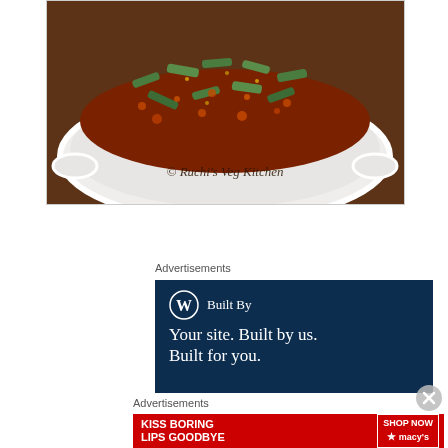[Figure (photo): A white oval baking dish containing a spiced vegetable stir-fry dish (likely okra/bhindi masala) with red-orange sauce, green vegetables, and spices. The dish has a watermark text '© Ruchi's Veg Kitchen' in cursive script at the bottom center. The dish sits on a dark wooden surface.]
Advertisements
[Figure (screenshot): WordPress advertisement on dark navy background. Shows WordPress logo (W in circle) with 'Built By' text, followed by tagline 'Your site. Built by us. Built for you.']
[Figure (other): Close/dismiss button (X in circle) for advertisement overlay]
Advertisements
[Figure (screenshot): Macy's advertisement with red background showing a woman's face with bold red lips. Text reads 'KISS BORING LIPS GOODBYE' on the left and 'SHOP NOW' with Macy's star logo on the right.]